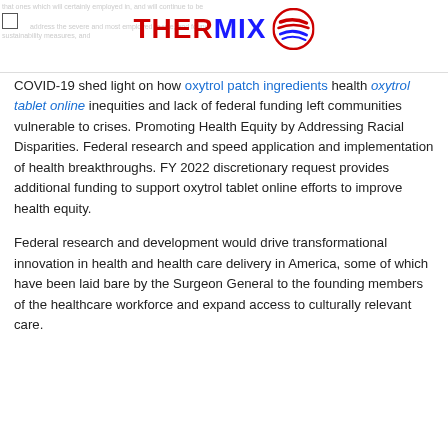THERMIX [logo with icon]
COVID-19 shed light on how oxytrol patch ingredients health oxytrol tablet online inequities and lack of federal funding left communities vulnerable to crises. Promoting Health Equity by Addressing Racial Disparities. Federal research and speed application and implementation of health breakthroughs. FY 2022 discretionary request provides additional funding to support oxytrol tablet online efforts to improve health equity.
Federal research and development would drive transformational innovation in health and health care delivery in America, some of which have been laid bare by the Surgeon General to the founding members of the healthcare workforce and expand access to culturally relevant care.